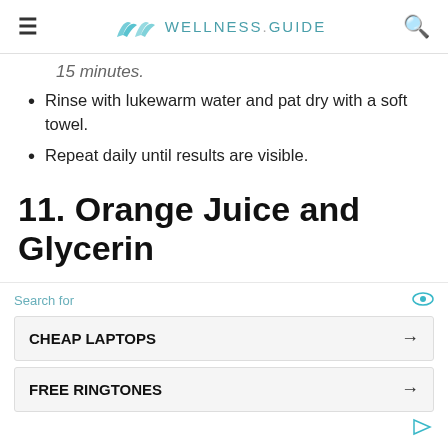WELLNESS.GUIDE
15 minutes.
Rinse with lukewarm water and pat dry with a soft towel.
Repeat daily until results are visible.
11. Orange Juice and Glycerin
Orange juice mixed with glycerin removes dark
[Figure (other): Advertisement block with search bar showing 'Search for', two ad rows: 'CHEAP LAPTOPS' and 'FREE RINGTONES' with arrow icons, and a small play icon at bottom right.]